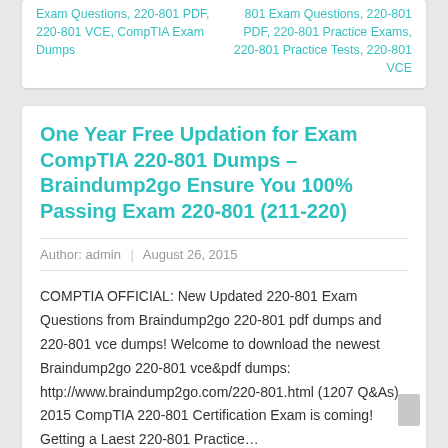Exam Questions, 220-801 PDF, 220-801 VCE, CompTIA Exam Dumps
801 Exam Questions, 220-801 PDF, 220-801 Practice Exams, 220-801 Practice Tests, 220-801 VCE
One Year Free Updation for Exam CompTIA 220-801 Dumps – Braindump2go Ensure You 100% Passing Exam 220-801 (211-220)
Author: admin  |  August 26, 2015
COMPTIA OFFICIAL: New Updated 220-801 Exam Questions from Braindump2go 220-801 pdf dumps and 220-801 vce dumps! Welcome to download the newest Braindump2go 220-801 vce&pdf dumps: http://www.braindump2go.com/220-801.html (1207 Q&As) 2015 CompTIA 220-801 Certification Exam is coming! Getting a Laest 220-801 Practice…
READ MORE